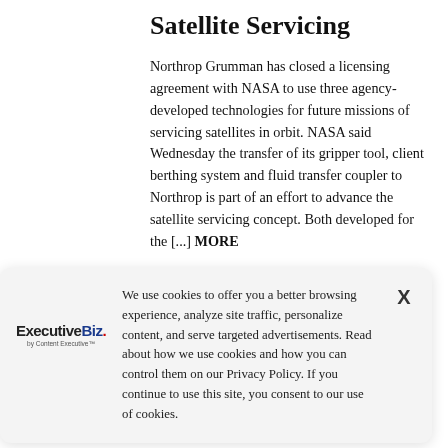Satellite Servicing
Northrop Grumman has closed a licensing agreement with NASA to use three agency-developed technologies for future missions of servicing satellites in orbit. NASA said Wednesday the transfer of its gripper tool, client berthing system and fluid transfer coupler to Northrop is part of an effort to advance the satellite servicing concept. Both developed for the [...] MORE
by Angeline Leishman
We use cookies to offer you a better browsing experience, analyze site traffic, personalize content, and serve targeted advertisements. Read about how we use cookies and how you can control them on our Privacy Policy. If you continue to use this site, you consent to our use of cookies.
Force